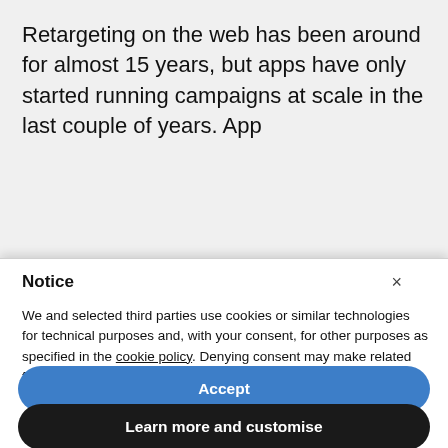Retargeting on the web has been around for almost 15 years, but apps have only started running campaigns at scale in the last couple of years. App
Notice
We and selected third parties use cookies or similar technologies for technical purposes and, with your consent, for other purposes as specified in the cookie policy. Denying consent may make related features unavailable. You can consent to the use of such technologies by using the “Accept” button or by closing this notice.
Accept
Learn more and customise